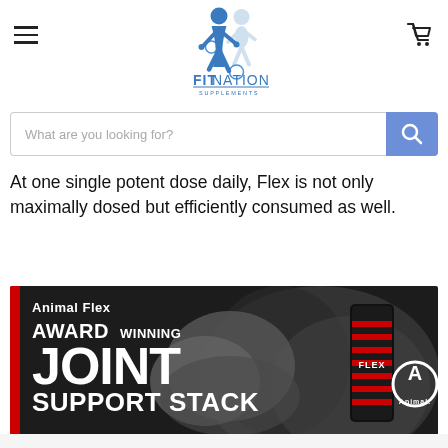[Figure (logo): FitNation Supplements logo with blue athlete silhouette and text]
What are you looking for?
At one single potent dose daily, Flex is not only maximally dosed but efficiently consumed as well.
[Figure (illustration): Animal Flex award winning joint support stack advertisement banner showing bodybuilder and product can]